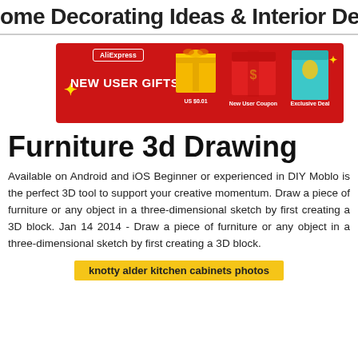ome Decorating Ideas & Interior Des
[Figure (infographic): AliExpress New User Gifts advertisement banner on red background showing three gift items: US $0.01, New User Coupon, and Exclusive Deal]
Furniture 3d Drawing
Available on Android and iOS Beginner or experienced in DIY Moblo is the perfect 3D tool to support your creative momentum. Draw a piece of furniture or any object in a three-dimensional sketch by first creating a 3D block. Jan 14 2014 - Draw a piece of furniture or any object in a three-dimensional sketch by first creating a 3D block.
knotty alder kitchen cabinets photos